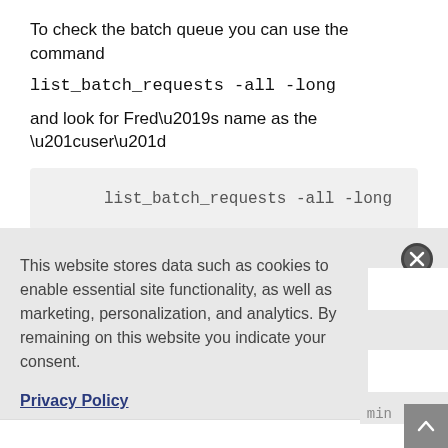To check the batch queue you can use the command
list_batch_requests -all -long
and look for Fred's name as the “user”
[Figure (screenshot): Code block showing: list_batch_requests -all -long]
This website stores data such as cookies to enable essential site functionality, as well as marketing, personalization, and analytics. By remaining on this website you indicate your consent.
Privacy Policy